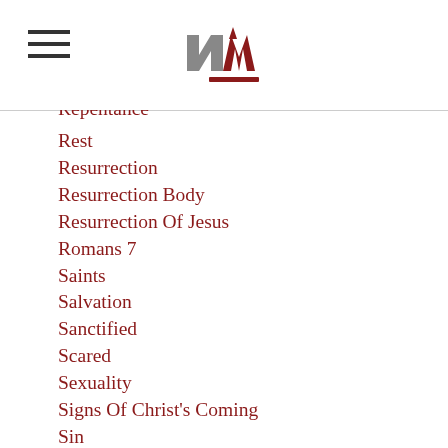NW logo header with hamburger menu
Rest
Resurrection
Resurrection Body
Resurrection Of Jesus
Romans 7
Saints
Salvation
Sanctified
Scared
Sexuality
Signs Of Christ's Coming
Sin
Sinner's Prayer
Spiritual Growth
Spiritual Health
Submission
Suffering